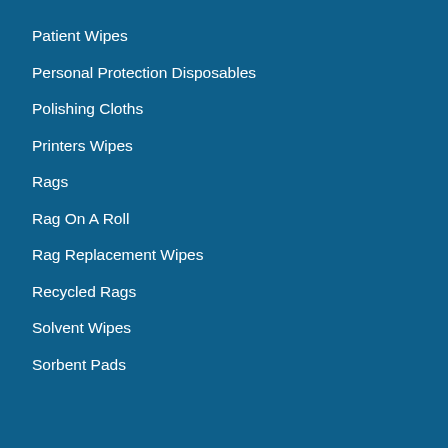Patient Wipes
Personal Protection Disposables
Polishing Cloths
Printers Wipes
Rags
Rag On A Roll
Rag Replacement Wipes
Recycled Rags
Solvent Wipes
Sorbent Pads